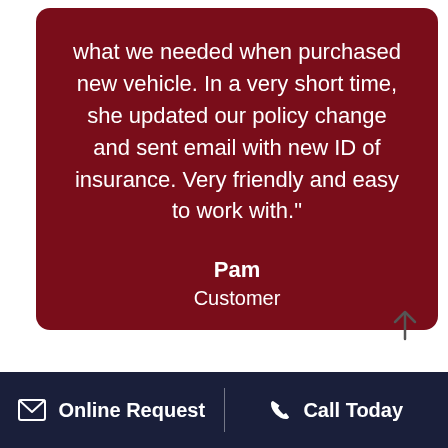what we needed when purchased new vehicle. In a very short time, she updated our policy change and sent email with new ID of insurance. Very friendly and easy to work with."
Pam
Customer
Online Request | Call Today